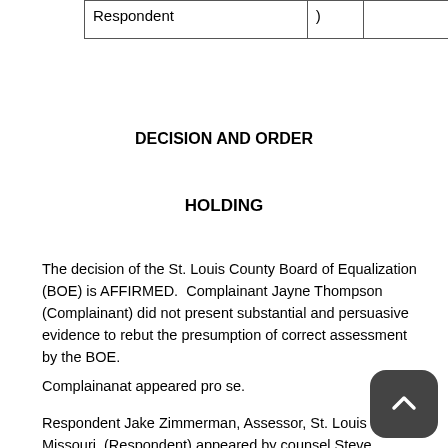| Respondent | ) |  |
DECISION AND ORDER
HOLDING
The decision of the St. Louis County Board of Equalization (BOE) is AFFIRMED.  Complainant Jayne Thompson (Complainant) did not present substantial and persuasive evidence to rebut the presumption of correct assessment by the BOE.
Complainanat appeared pro se.
Respondent Jake Zimmerman, Assessor, St. Louis County, Missouri, (Respondent) appeared by counsel Steve Robson,